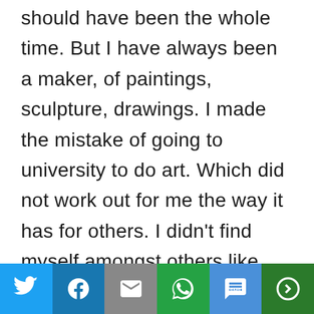should have been the whole time. But I have always been a maker, of paintings, sculpture, drawings. I made the mistake of going to university to do art. Which did not work out for me the way it has for others. I didn't find myself amongst others like me;
[Figure (other): Social share bar with Twitter, Facebook, Email, WhatsApp, SMS, and More buttons]